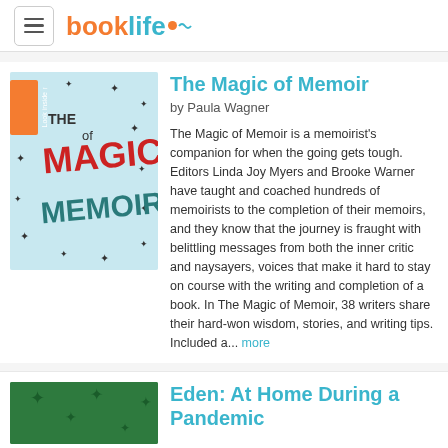booklife
The Magic of Memoir
by Paula Wagner
The Magic of Memoir is a memoirist's companion for when the going gets tough. Editors Linda Joy Myers and Brooke Warner have taught and coached hundreds of memoirists to the completion of their memoirs, and they know that the journey is fraught with belittling messages from both the inner critic and naysayers, voices that make it hard to stay on course with the writing and completion of a book. In The Magic of Memoir, 38 writers share their hard-won wisdom, stories, and writing tips. Included a... more
Eden: At Home During a Pandemic